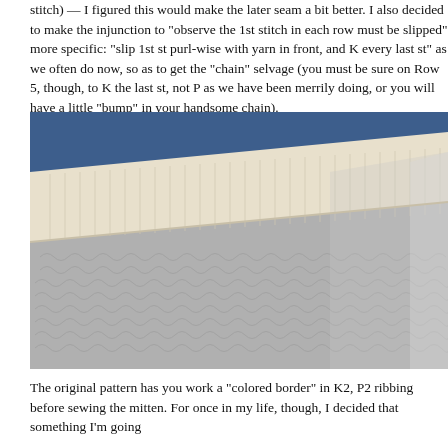stitch) — I figured this would make the later seam a bit better. I also decided to make the injunction to "observe the 1st stitch in each row must be slipped" more specific: "slip 1st st purl-wise with yarn in front, and K every last st" as we often do now, so as to get the "chain" selvage (you must be sure on Row 5, though, to K the last st, not P as we have been merrily doing, or you will have a little "bump" in your handsome chain).
[Figure (photo): Close-up photograph of knitted fabric showing a gray stockinette stitch body with a cream/white ribbed border at the top edge, against a blue background.]
The original pattern has you work a "colored border" in K2, P2 ribbing before sewing the mitten. For once in my life, though, I decided that something I'm going